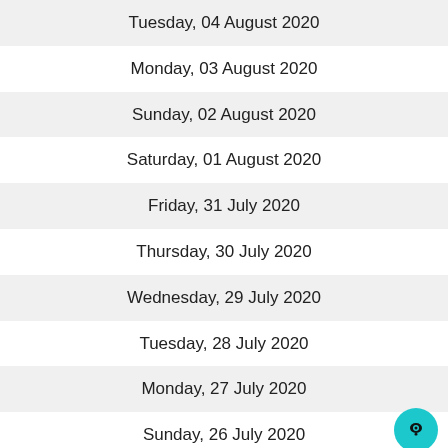Tuesday, 04 August 2020
Monday, 03 August 2020
Sunday, 02 August 2020
Saturday, 01 August 2020
Friday, 31 July 2020
Thursday, 30 July 2020
Wednesday, 29 July 2020
Tuesday, 28 July 2020
Monday, 27 July 2020
Sunday, 26 July 2020